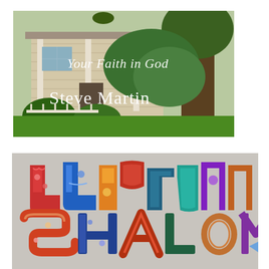[Figure (photo): Book cover photo of a house front porch with green lawn and trees. White text overlay reads 'Your Faith in God' and 'Steve Martin'.]
[Figure (photo): Photo of colorful patterned decorative letters spelling out Hebrew text and 'SHALOM' arranged on a surface, with bright multi-colored mosaic/patchwork designs.]